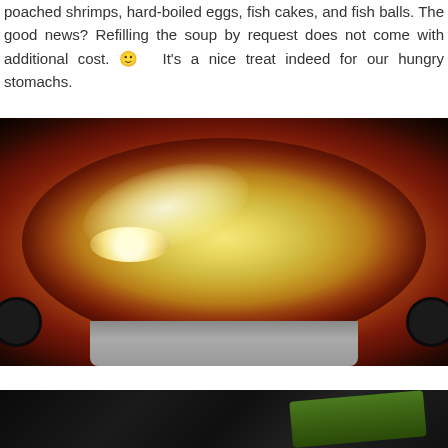poached shrimps, hard-boiled eggs, fish cakes, and fish balls. The good news? Refilling the soup by request does not come with additional cost. 🙂 It's a nice treat indeed for our hungry stomachs.
[Figure (photo): A hot pot dish in a round black pan with handles, containing a red broth topped with melted cheese, hard-boiled eggs, and various ingredients, placed on a burner.]
[Figure (photo): Partial view of a dark scene, possibly another food or restaurant photo, with a green object visible on the right side.]